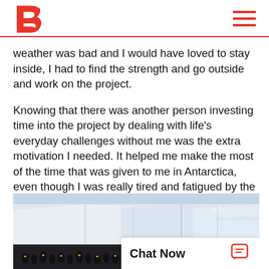B [logo] [hamburger menu]
weather was bad and I would have loved to stay inside, I had to find the strength and go outside and work on the project.
Knowing that there was another person investing time into the project by dealing with life's everyday challenges without me was the extra motivation I needed. It helped me make the most of the time that was given to me in Antarctica, even though I was really tired and fatigued by the end of it.
[Figure (photo): Antarctica landscape showing large white ice shelves and glaciers against a blue-grey sky, with a colony of penguins visible in the lower foreground. A watermark/signature is visible in the upper right of the image.]
Chat Now